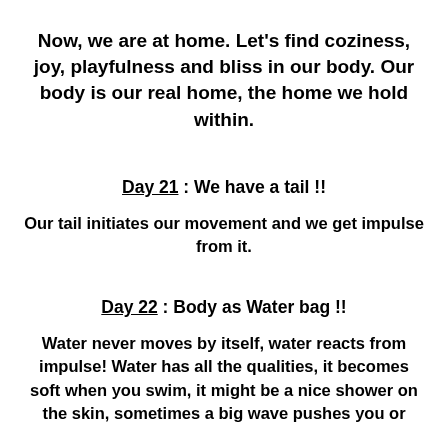Now, we are at home. Let's find coziness, joy, playfulness and bliss in our body. Our body is our real home, the home we hold within.
Day 21 : We have a tail !!
Our tail initiates our movement and we get impulse from it.
Day 22 : Body as Water bag !!
Water never moves by itself, water reacts from impulse! Water has all the qualities, it becomes soft when you swim, it might be a nice shower on the skin, sometimes a big wave pushes you or